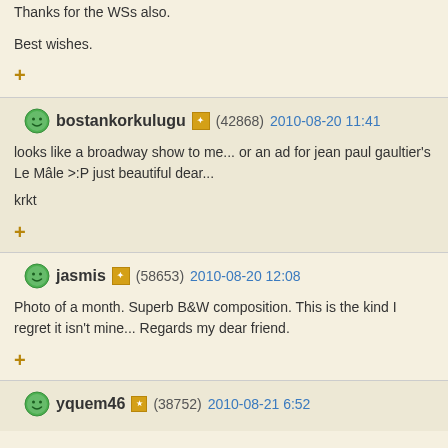Thanks for the WSs also.

Best wishes.
+
bostankorkulugu (42868) 2010-08-20 11:41
looks like a broadway show to me... or an ad for jean paul gaultier's Le Mâle >:P just beautiful dear...

krkt
+
jasmis (58653) 2010-08-20 12:08
Photo of a month. Superb B&W composition. This is the kind I regret it isn't mine... Regards my dear friend.
+
yquem46 (38752) 2010-08-21 6:52